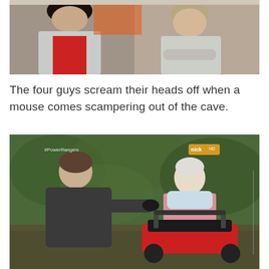[Figure (photo): Two women standing side by side outdoors. Left woman wears a light grey jacket over a red top with dark hair. Right woman wears a light grey blazer with arms crossed. Orange shelving unit visible in background.]
The four guys scream their heads off when a mouse comes scampering out of the cave.
[Figure (photo): A man in a dark hoodie bends toward an elderly woman seated in a red motorized scooter/wheelchair. The woman has white hair and wears a light blue scarf and floral clothing. Lush green foliage in background. #PowerRangers watermark visible top left, nickHD logo top right. BACK TO TOP text vertically on right edge.]